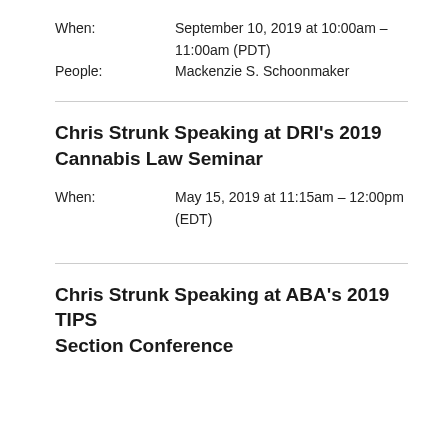When: September 10, 2019 at 10:00am – 11:00am (PDT)
People: Mackenzie S. Schoonmaker
Chris Strunk Speaking at DRI's 2019 Cannabis Law Seminar
When: May 15, 2019 at 11:15am – 12:00pm (EDT)
Chris Strunk Speaking at ABA's 2019 TIPS Section Conference